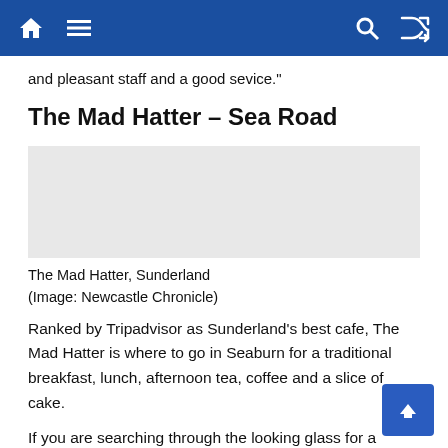[Navigation bar with home, menu, search, and shuffle icons]
and pleasant staff and a good sevice."
The Mad Hatter – Sea Road
[Figure (photo): Photo of The Mad Hatter, Sunderland (image placeholder area)]
The Mad Hatter, Sunderland
(Image: Newcastle Chronicle)
Ranked by Tripadvisor as Sunderland's best cafe, The Mad Hatter is where to go in Seaburn for a traditional breakfast, lunch, afternoon tea, coffee and a slice of cake.
If you are searching through the looking glass for a pleasant place to eat home-cooked English food, then the Mad Hatter should be right up your street.